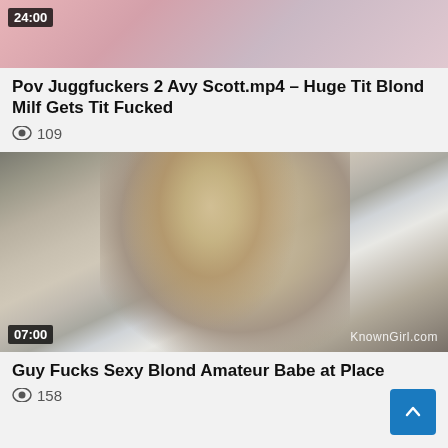[Figure (screenshot): Video thumbnail showing partial view of content with timestamp 24:00 in top left corner]
Pov Juggfuckers 2 Avy Scott.mp4 – Huge Tit Blond Milf Gets Tit Fucked
👁 109
[Figure (screenshot): Video thumbnail showing a blonde woman in a light floral dress, indoors near a window, with microphone stand visible. Watermark reads KnownGirl.com. Timestamp 07:00 in bottom left.]
Guy Fucks Sexy Blond Amateur Babe at Place
👁 158